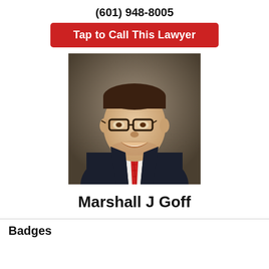(601) 948-8005
Tap to Call This Lawyer
[Figure (photo): Professional headshot of Marshall J Goff, a man in a dark suit with a red tie and glasses, smiling against a brown background.]
Marshall J Goff
Badges